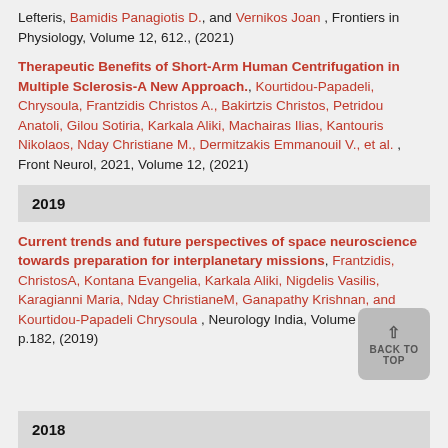Lefteris, Bamidis Panagiotis D., and Vernikos Joan , Frontiers in Physiology, Volume 12, 612., (2021)
Therapeutic Benefits of Short-Arm Human Centrifugation in Multiple Sclerosis-A New Approach., Kourtidou-Papadeli, Chrysoula, Frantzidis Christos A., Bakirtzis Christos, Petridou Anatoli, Gilou Sotiria, Karkala Aliki, Machairas Ilias, Kantouris Nikolaos, Nday Christiane M., Dermitzakis Emmanouil V., et al. , Front Neurol, 2021, Volume 12, (2021)
2019
Current trends and future perspectives of space neuroscience towards preparation for interplanetary missions, Frantzidis, ChristosA, Kontana Evangelia, Karkala Aliki, Nigdelis Vasilis, Karagianni Maria, Nday ChristianeM, Ganapathy Krishnan, and Kourtidou-Papadeli Chrysoula , Neurology India, Volume 67, Issue 8, p.182, (2019)
2018